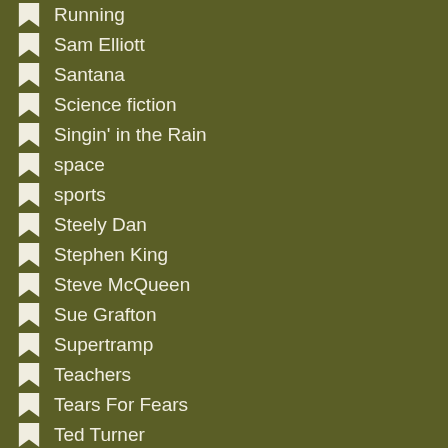Running
Sam Elliott
Santana
Science fiction
Singin' in the Rain
space
sports
Steely Dan
Stephen King
Steve McQueen
Sue Grafton
Supertramp
Teachers
Tears For Fears
Ted Turner
Television
Tennis
Terrorism
The Monkees